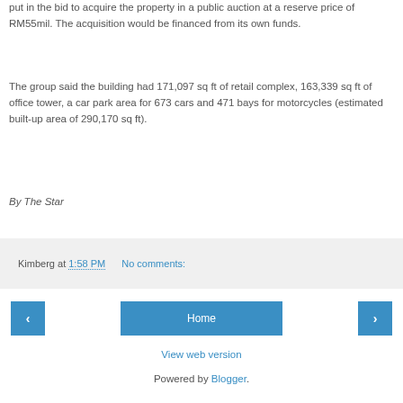put in the bid to acquire the property in a public auction at a reserve price of RM55mil. The acquisition would be financed from its own funds.
The group said the building had 171,097 sq ft of retail complex, 163,339 sq ft of office tower, a car park area for 673 cars and 471 bays for motorcycles (estimated built-up area of 290,170 sq ft).
By The Star
Kimberg at 1:58 PM   No comments:
Home
View web version
Powered by Blogger.